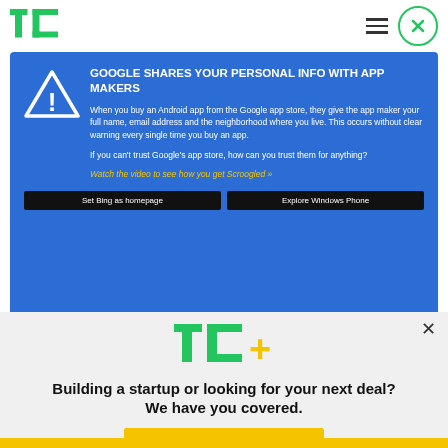TechCrunch navigation header with TC logo, hamburger menu, and close circle button
[Figure (screenshot): Blue advertisement banner from Microsoft/Bing: 'GOOGLE SHARES YOUR PERSONAL INFO WITH APP MAKERS' with warning triangle icon, body text about Android app purchases sharing personal info, yellow italic link 'Watch the video to see how you get Scroogled »', and two dark buttons 'Set Bing as homepage' and 'Explore Windows Phone']
[Figure (logo): TechCrunch TC+ logo in green and yellow on gray modal background]
Building a startup or looking for your next deal? We have you covered.
EXPLORE NOW